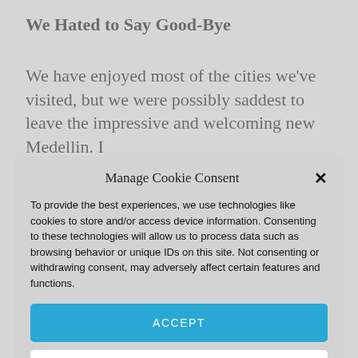We Hated to Say Good-Bye
We have enjoyed most of the cities we've visited, but we were possibly saddest to leave the impressive and welcoming new Medellin. I
Manage Cookie Consent
To provide the best experiences, we use technologies like cookies to store and/or access device information. Consenting to these technologies will allow us to process data such as browsing behavior or unique IDs on this site. Not consenting or withdrawing consent, may adversely affect certain features and functions.
ACCEPT
DENY
Cookie Policy  Privacy Statement